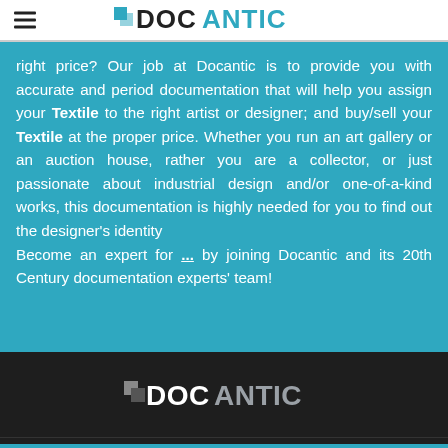DOCANTIC
right price? Our job at Docantic is to provide you with accurate and period documentation that will help you assign your Textile to the right artist or designer; and buy/sell your Textile at the proper price. Whether you run an art gallery or an auction house, rather you are a collector, or just passionate about industrial design and/or one-of-a-kind works, this documentation is highly needed for you to find out the designer's identity Become an expert for ... by joining Docantic and its 20th Century documentation experts' team!
[Figure (logo): Docantic logo in white on dark background]
Navigation